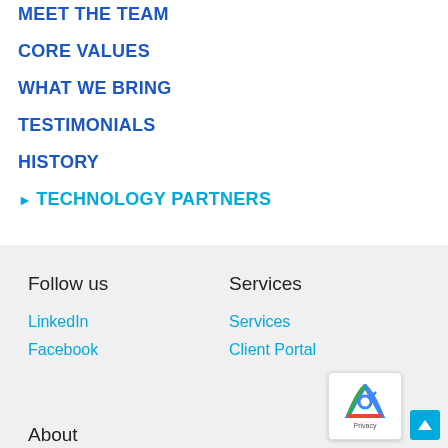MEET THE TEAM
CORE VALUES
WHAT WE BRING
TESTIMONIALS
HISTORY
TECHNOLOGY PARTNERS
Follow us
LinkedIn
Facebook
Services
Services
Client Portal
About